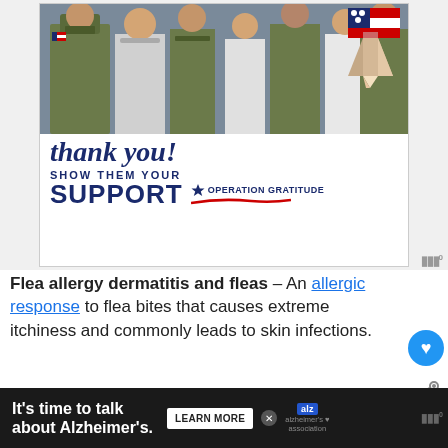[Figure (infographic): Operation Gratitude advertisement showing military personnel photo at top with a flag pencil graphic, 'thank you!' in cursive script, and 'SHOW THEM YOUR SUPPORT OPERATION GRATITUDE' text below]
Flea allergy dermatitis and fleas – An allergic response to flea bites that causes extreme itchiness and commonly leads to skin infections.
[Figure (photo): Small circular thumbnail of a dog (appears to be a Goldendoodle or similar breed) next to WHAT'S NEXT label and 'Best Shock Collar For...' text]
Allergies – Most typically, this involves and environmental allergies, also known as atopy. Food allergies and contact allergies can also be
[Figure (infographic): Alzheimer's Association advertisement at bottom: 'It's time to talk about Alzheimer's.' with LEARN MORE button and Alzheimer's Association logo]